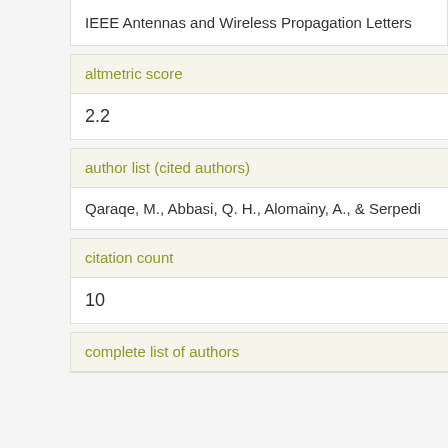IEEE Antennas and Wireless Propagation Letters
altmetric score
2.2
author list (cited authors)
Qaraqe, M., Abbasi, Q. H., Alomainy, A., & Serpedi
citation count
10
complete list of authors